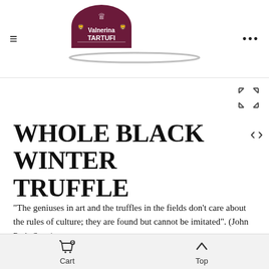Valnerina TARTUFI — navigation header with hamburger menu, logo, and dots menu
WHOLE BLACK WINTER TRUFFLE
"The geniuses in art and the truffles in the fields don't care about the rules of culture; they are found but cannot be imitated". (John Petit-Senn)
The black winter truffle (Tuber Melanosporum Vitt.) is one of the most valuable
Cart  Top